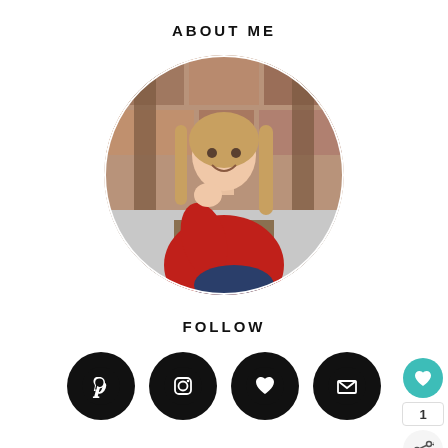ABOUT ME
[Figure (photo): Circular profile photo of a smiling young woman with long blonde hair, wearing a red sweater, sitting in front of a stone building entrance.]
FOLLOW
[Figure (infographic): Four black circular social media icon buttons for Pinterest, Instagram, heart/favorites, and email/envelope.]